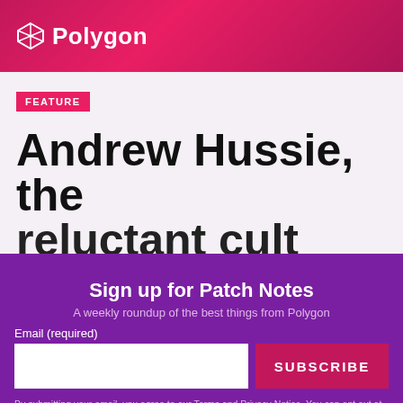Polygon
FEATURE
Andrew Hussie, the reluctant cult leader
Sign up for Patch Notes
A weekly roundup of the best things from Polygon
Email (required)
SUBSCRIBE
By submitting your email, you agree to our Terms and Privacy Notice. You can opt out at any time. This site is protected by reCAPTCHA and the Google Privacy Policy and Terms of Service apply.